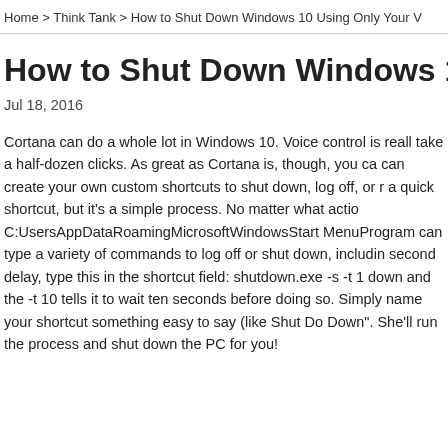Home > Think Tank > How to Shut Down Windows 10 Using Only Your V
How to Shut Down Windows 10 Us
Jul 18, 2016
Cortana can do a whole lot in Windows 10. Voice control is really take a half-dozen clicks. As great as Cortana is, though, you ca can create your own custom shortcuts to shut down, log off, or r a quick shortcut, but it's a simple process. No matter what actio C:UsersAppDataRoamingMicrosoftWindowsStart MenuProgram can type a variety of commands to log off or shut down, includin second delay, type this in the shortcut field: shutdown.exe -s -t 1 down and the -t 10 tells it to wait ten seconds before doing so. Simply name your shortcut something easy to say (like Shut Do Down". She'll run the process and shut down the PC for you!